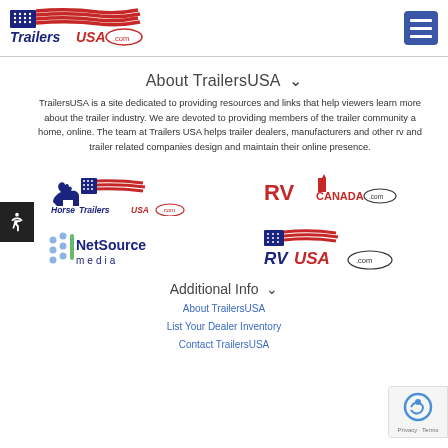TrailersUSA.com logo and navigation menu
About TrailersUSA
TrailersUSA is a site dedicated to providing resources and links that help viewers learn more about the trailer industry. We are devoted to providing members of the trailer community a home, online. The team at Trailers USA helps trailer dealers, manufacturers and other rv and trailer related companies design and maintain their online presence.
[Figure (logo): HorseTrailersUSA.com logo with horse and American flag graphic]
[Figure (logo): RVCanada.com logo with Canadian flag and RV graphic]
[Figure (logo): NetSource Media logo with green and blue icon]
[Figure (logo): RVUSA.com logo with American flag graphic]
Additional Info
About TrailersUSA
List Your Dealer Inventory
Contact TrailersUSA